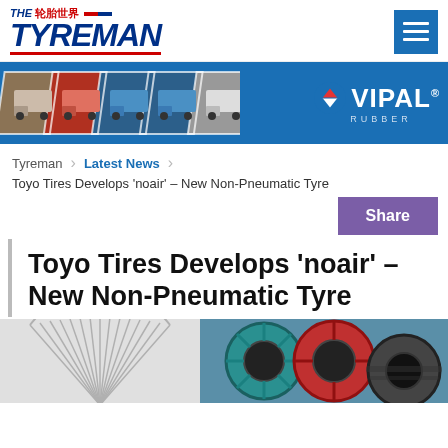THE 轮胎世界 TYREMAN
[Figure (illustration): Vipal Rubber banner advertisement with truck images and Vipal logo]
Tyreman > Latest News
Toyo Tires Develops 'noair' – New Non-Pneumatic Tyre
Share
Toyo Tires Develops 'noair' – New Non-Pneumatic Tyre
[Figure (photo): Non-pneumatic tyre concept images showing spoke wheel design and coloured airless tyres]